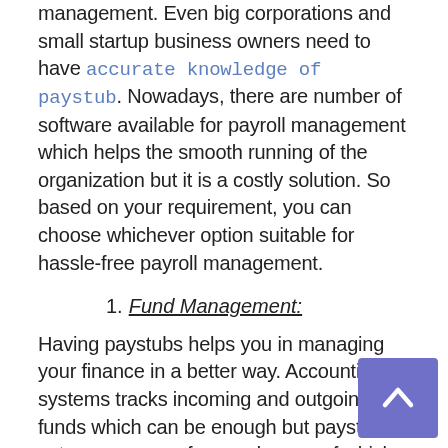management. Even big corporations and small startup business owners need to have accurate knowledge of paystub. Nowadays, there are number of software available for payroll management which helps the smooth running of the organization but it is a costly solution. So based on your requirement, you can choose whichever option suitable for hassle-free payroll management.
1. Fund Management:
Having paystubs helps you in managing your finance in a better way. Accounting systems tracks incoming and outgoing funds which can be enough but paystubs act as a source of secondary proof which is pretty quick and easy to use while comparing or measuring the growth of your business.
2. Tracking Employees:
Having paystubs helps you in tracking down employee easily. Paystubs are the first records to check in case of